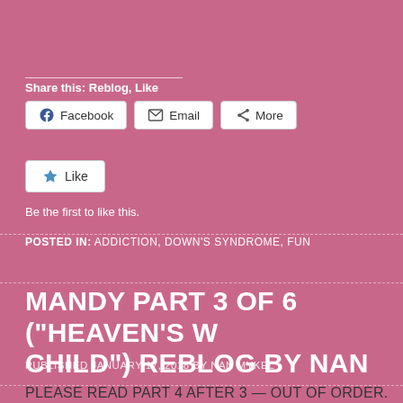Share this: Reblog, Like
Facebook | Email | More
Like
Be the first to like this.
POSTED IN: ADDICTION, DOWN'S SYNDROME, FUN
MANDY PART 3 OF 6 ("HEAVEN'S CHILD") REBLOG BY NAN
PUBLISHED JANUARY 17, 2018 BY NAN MYKEL
PLEASE READ PART 4 AFTER 3 — OUT OF ORDER.